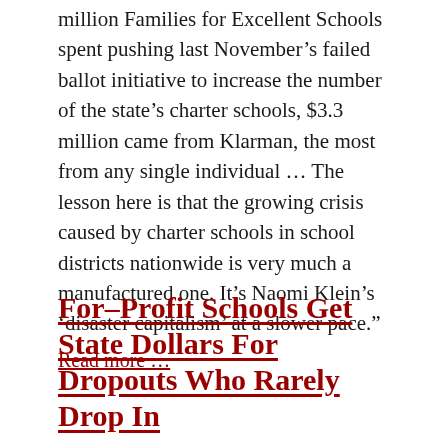million Families for Excellent Schools spent pushing last November's failed ballot initiative to increase the number of the state's charter schools, $3.3 million came from Klarman, the most from any single individual … The lesson here is that the growing crisis caused by charter schools in school districts nationwide is very much a manufactured one. It's Naomi Klein's 'disaster capitalism' at a slower pace."
Read more …
For-Profit Schools Get State Dollars For Dropouts Who Rarely Drop In